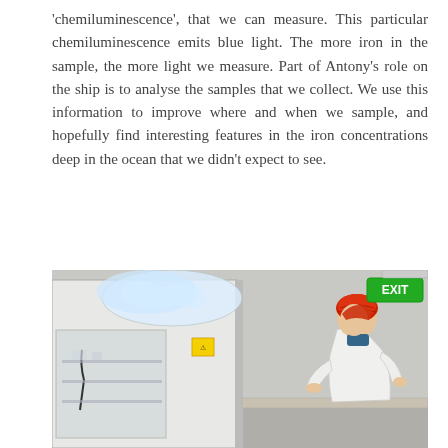'chemiluminescence', that we can measure. This particular chemiluminescence emits blue light. The more iron in the sample, the more light we measure. Part of Antony's role on the ship is to analyse the samples that we collect. We use this information to improve where and when we sample, and hopefully find interesting features in the iron concentrations deep in the ocean that we didn't expect to see.
[Figure (photo): A researcher wearing a white lab coat, red hair net, and blue neck gaiter works at a bench inside a ship laboratory. The lab has white walls, a large laminar flow cabinet covered in plastic sheeting on the left, and a green EXIT sign on the upper right.]